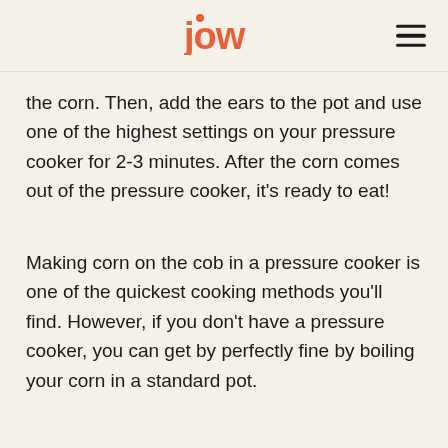jow
the corn. Then, add the ears to the pot and use one of the highest settings on your pressure cooker for 2-3 minutes. After the corn comes out of the pressure cooker, it's ready to eat!
Making corn on the cob in a pressure cooker is one of the quickest cooking methods you'll find. However, if you don't have a pressure cooker, you can get by perfectly fine by boiling your corn in a standard pot.